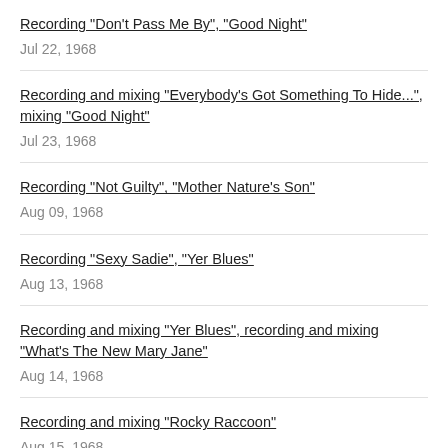Recording "Don't Pass Me By", "Good Night"
Jul 22, 1968
Recording and mixing "Everybody's Got Something To Hide...", mixing "Good Night"
Jul 23, 1968
Recording "Not Guilty", "Mother Nature's Son"
Aug 09, 1968
Recording "Sexy Sadie", "Yer Blues"
Aug 13, 1968
Recording and mixing "Yer Blues", recording and mixing "What's The New Mary Jane"
Aug 14, 1968
Recording and mixing "Rocky Raccoon"
Aug 15, 1968